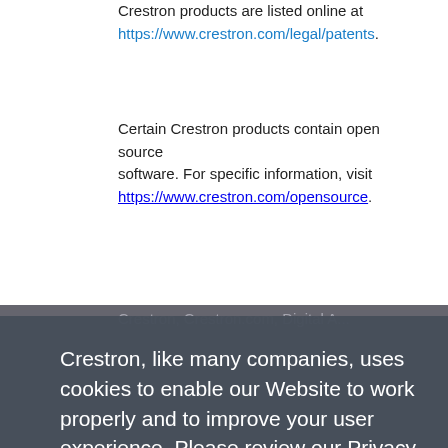Crestron products are listed online at https://www.crestron.com/legal/patents.
Certain Crestron products contain open source software. For specific information, visit https://www.crestron.com/opensource.
Crestron, like many companies, uses cookies to enable our Website to work properly and to improve your user experience. Please review our Privacy Policy and Website Terms of Use to learn more about our use of cookies. By continuing to browse our website without changing your browser settings, you agree to our use of cookies as explained in these policies.
Accept and Close